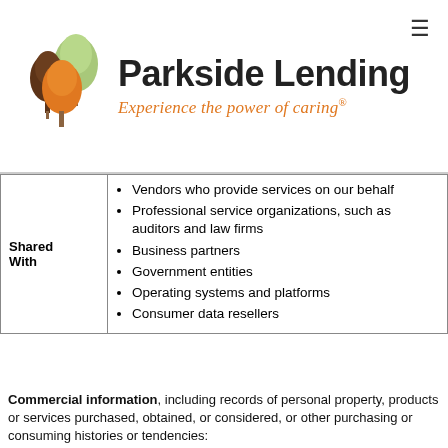[Figure (logo): Parkside Lending logo with tree illustration and tagline 'Experience the power of caring®']
|  |  |
| --- | --- |
| Shared With | Vendors who provide services on our behalf
Professional service organizations, such as auditors and law firms
Business partners
Government entities
Operating systems and platforms
Consumer data resellers |
Commercial information, including records of personal property, products or services purchased, obtained, or considered, or other purchasing or consuming histories or tendencies: